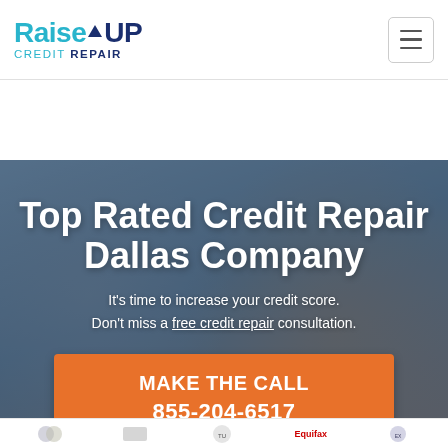Raise UP CREDIT REPAIR
Top Rated Credit Repair Dallas Company
It's time to increase your credit score. Don't miss a free credit repair consultation.
MAKE THE CALL 855-204-6517
[Figure (illustration): Partial view of logo icons at bottom: credit bureau logos including Equifax and others]